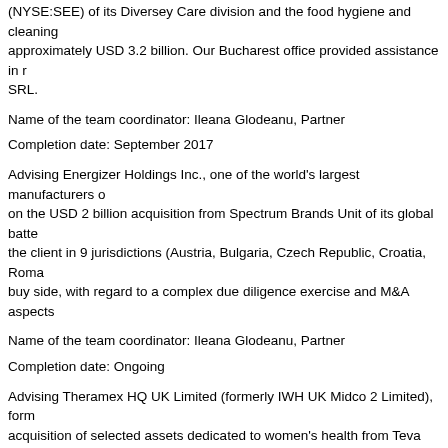(NYSE:SEE) of its Diversey Care division and the food hygiene and cleaning approximately USD 3.2 billion. Our Bucharest office provided assistance in r SRL.
Name of the team coordinator: Ileana Glodeanu, Partner
Completion date: September 2017
Advising Energizer Holdings Inc., one of the world's largest manufacturers o on the USD 2 billion acquisition from Spectrum Brands Unit of its global batte the client in 9 jurisdictions (Austria, Bulgaria, Czech Republic, Croatia, Roma buy side, with regard to a complex due diligence exercise and M&A aspects
Name of the team coordinator: Ileana Glodeanu, Partner
Completion date: Ongoing
Advising Theramex HQ UK Limited (formerly IWH UK Midco 2 Limited), form acquisition of selected assets dedicated to women's health from Teva Pharm
Name of the team coordinator: Ileana Glodeanu, Partner
Completion date: January 2018
Assisting CTDI GmbH, a global services company specialised in planning, c building customer technology and networks, on transactional advice and red SRL upon the transfer of the EMEA related business activity from CTDI USA
Name of the team coordinator: Ileana Glodeanu, Partner
Completion date: October 2017